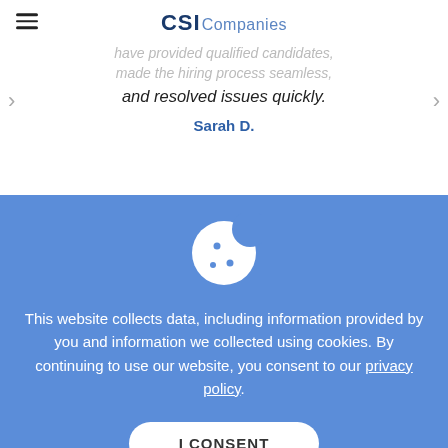CSI Companies
one capacite staming per their. They have provided qualified candidates, made the hiring process seamless, and resolved issues quickly.
Sarah D.
[Figure (illustration): Cookie consent icon: white cookie with bite taken out, on blue background]
This website collects data, including information provided by you and information we collected using cookies. By continuing to use our website, you consent to our privacy policy.
I CONSENT